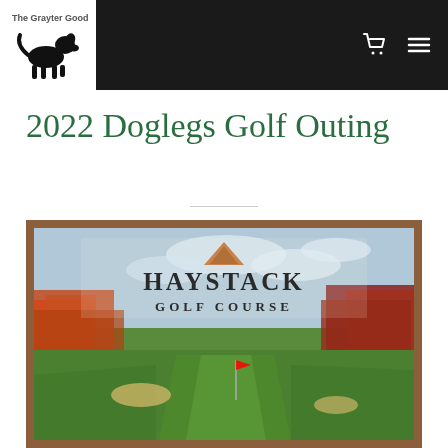The Grayter Good — navigation header with logo, cart icon, and menu icon
2022 Doglegs Golf Outing
[Figure (photo): Haystack Golf Course sign and scenic golf fairway with autumn trees in the background, framed in wood.]